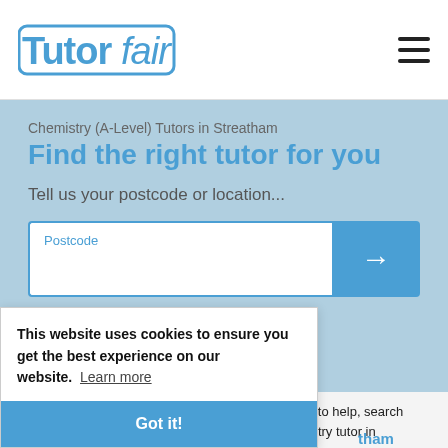TutorFair [logo] ≡
Chemistry (A-Level) Tutors in Streatham
Find the right tutor for you
Tell us your postcode or location...
Postcode [input] →
Our A-Level Chemistry tutors in Streatham are here to help, search using your postcode to find the best A-Level Chemistry tutor in Streatham.
This website uses cookies to ensure you get the best experience on our website. Learn more
Got it!
tham
Muhammad C